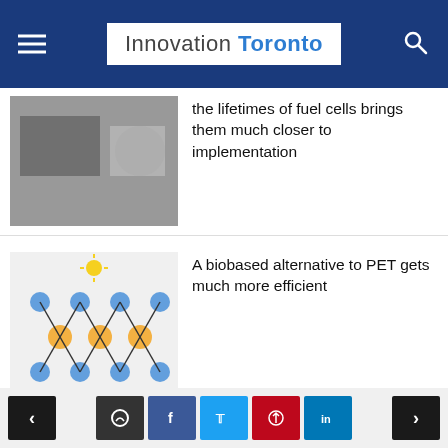Innovation Toronto
the lifetimes of fuel cells brings them much closer to implementation
A biobased alternative to PET gets much more efficient
Using augmented reality to control a bendable flexible robotic arm
Neuromorphic computing can solve more complex problems than those posed by artificial intelligence with less energy use
A biohybrid material that performs like...